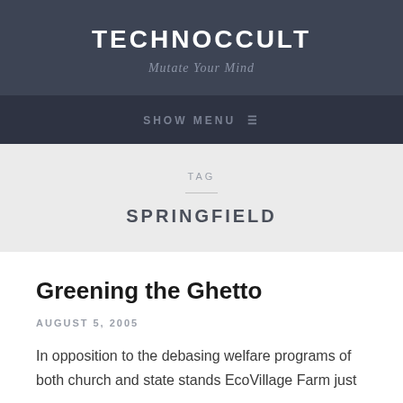TECHNOCCULT
Mutate Your Mind
SHOW MENU
TAG
SPRINGFIELD
Greening the Ghetto
AUGUST 5, 2005
In opposition to the debasing welfare programs of both church and state stands EcoVillage Farm just